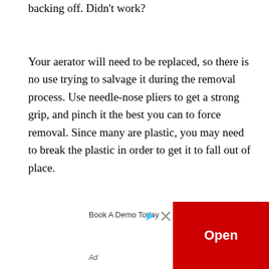backing off. Didn't work?
Your aerator will need to be replaced, so there is no use trying to salvage it during the removal process. Use needle-nose pliers to get a strong grip, and pinch it the best you can to force removal. Since many are plastic, you may need to break the plastic in order to get it to fall out of place.
Supplies You'll Need to Remove a Recessed Faucet Aerator
[Figure (other): Advertisement overlay with 'Book A Demo Today' text, an Open button in red, and an Ad label]
Ad